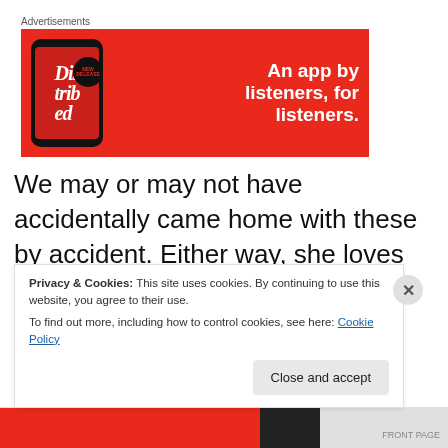[Figure (screenshot): Advertisement banner with red background showing a phone app screen with text 'Dis-trib-ed' and tagline 'An app by listeners, for listeners.']
We may or may not have accidentally came home with these by accident. Either way, she loves them for some reason
Privacy & Cookies: This site uses cookies. By continuing to use this website, you agree to their use.
To find out more, including how to control cookies, see here: Cookie Policy
Close and accept